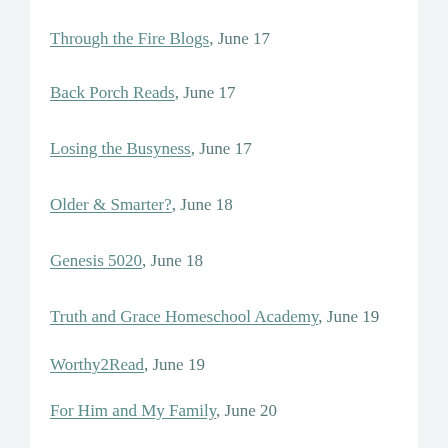Through the Fire Blogs, June 17
Back Porch Reads, June 17
Losing the Busyness, June 17
Older & Smarter?, June 18
Genesis 5020, June 18
Truth and Grace Homeschool Academy, June 19
Worthy2Read, June 19
For Him and My Family, June 20
deb's Book Review, June 20